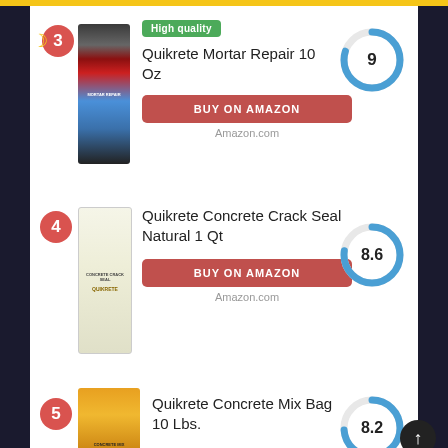[Figure (illustration): Rank badge number 3 in red circle with moon icon]
[Figure (photo): Quikrete Mortar Repair 10 Oz tube product image]
High quality
Quikrete Mortar Repair 10 Oz
[Figure (donut-chart): Score donut chart showing 9]
BUY ON AMAZON
Amazon.com
[Figure (illustration): Rank badge number 4 in red circle]
[Figure (photo): Quikrete Concrete Crack Seal Natural 1 Qt bottle product image]
Quikrete Concrete Crack Seal Natural 1 Qt
[Figure (donut-chart): Score donut chart showing 8.6]
BUY ON AMAZON
Amazon.com
[Figure (illustration): Rank badge number 5 in red circle]
[Figure (photo): Quikrete Concrete Mix Bag 10 Lbs. yellow bag product image]
Quikrete Concrete Mix Bag 10 Lbs.
[Figure (donut-chart): Score donut chart showing 8.2]